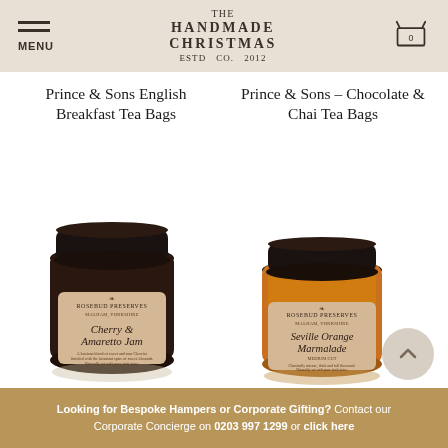MENU | THE HANDMADE CHRISTMAS CO. ESTD 2012
Prince & Sons English Breakfast Tea Bags
Prince & Sons - Chocolate & Chai Tea Bags
[Figure (photo): Jar of Rosebud Preserves Cherry & Amaretto Jam with a dark lid and kraft paper label]
[Figure (photo): Jar of Rosebud Preserves Seville Orange Marmalade Medium Cut with an amber-coloured jar, dark lid and kraft paper label]
Looking for Bespoke Hampers or Corporate Gifting? Contact our Corporate Concierge on 0203 997 1299 or click here